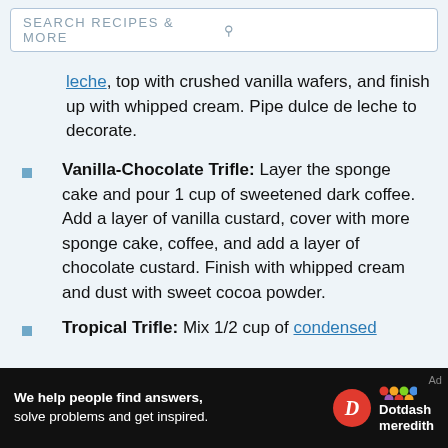SEARCH RECIPES & MORE
leche, top with crushed vanilla wafers, and finish up with whipped cream. Pipe dulce de leche to decorate.
Vanilla-Chocolate Trifle: Layer the sponge cake and pour 1 cup of sweetened dark coffee. Add a layer of vanilla custard, cover with more sponge cake, coffee, and add a layer of chocolate custard. Finish with whipped cream and dust with sweet cocoa powder.
Tropical Trifle: Mix 1/2 cup of condensed
[Figure (logo): Dotdash Meredith advertisement banner with text: We help people find answers, solve problems and get inspired.]